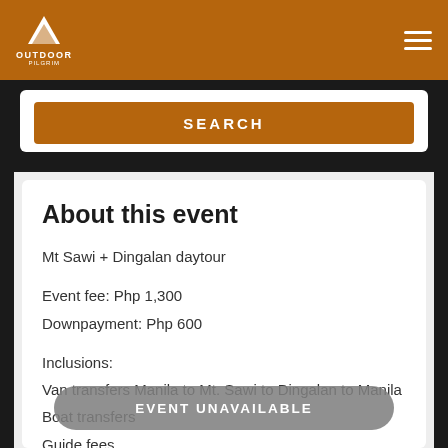OUTDOOR (logo) | hamburger menu
SEARCH
About this event
Mt Sawi + Dingalan daytour

Event fee: Php 1,300
Downpayment: Php 600

Inclusions:
Van transfers Manila to Mt. Sawi to Dingalan to Manila
Boat transfers
Guide fees
Environmentalt fees
Cottage fees
Tour...
Boodle Fight